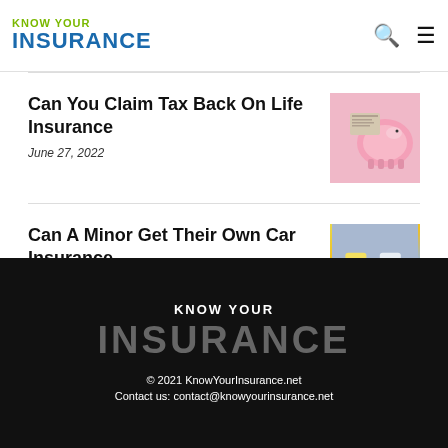KNOW YOUR INSURANCE
Can You Claim Tax Back On Life Insurance
June 27, 2022
[Figure (photo): Piggy bank and financial documents image]
Can A Minor Get Their Own Car Insurance
March 29, 2022
[Figure (photo): Toy cars collision image with text '17+ FUNNY CAR INSURANCE']
KNOW YOUR INSURANCE
© 2021 KnowYourInsurance.net
Contact us: contact@knowyourinsurance.net